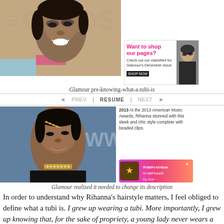[Figure (photo): Photo of Rihanna at American Music Awards red carpet backdrop, top portion of page]
[Figure (photo): Advertisement image: Want to shop our pages? Check out our classified for Glamour's December Issue]
Glamour pre-knowing-what-a-tubi-is
[Figure (photo): Navigation bar: PREV | RESUME | NEXT]
[Figure (photo): Photo of Rihanna at 2013 American Music Awards with sleek chic style with beaded clips]
2013 At the 2013 American Music Awards, Rihanna stunned with this sleek and chic style complete with beaded clips.
[Figure (photo): Colorful advertisement banner]
Glamour realized it needed to change its description
In order to understand why Rihanna’s hairstyle matters, I feel obliged to define what a tubi is. I grew up wearing a tubi. More importantly, I grew up knowing that, for the sake of propriety, a young lady never wears a tubi in